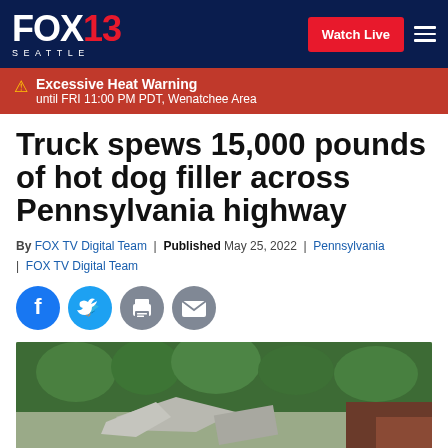FOX 13 SEATTLE — Watch Live
⚠ Excessive Heat Warning until FRI 11:00 PM PDT, Wenatchee Area
Truck spews 15,000 pounds of hot dog filler across Pennsylvania highway
By FOX TV Digital Team | Published May 25, 2022 | Pennsylvania | FOX TV Digital Team
[Figure (photo): Crashed truck on Pennsylvania highway roadside with debris and trees in background]